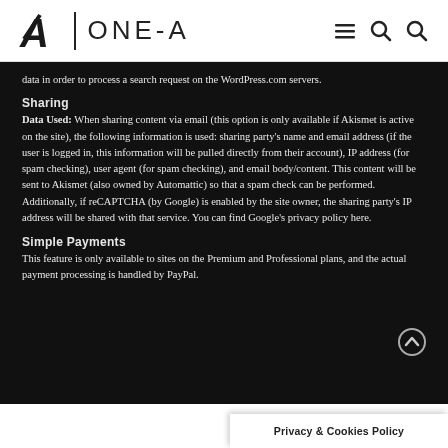ONE-A
data in order to process a search request on the WordPress.com servers.
Sharing
Data Used: When sharing content via email (this option is only available if Akismet is active on the site), the following information is used: sharing party's name and email address (if the user is logged in, this information will be pulled directly from their account), IP address (for spam checking), user agent (for spam checking), and email body/content. This content will be sent to Akismet (also owned by Automattic) so that a spam check can be performed. Additionally, if reCAPTCHA (by Google) is enabled by the site owner, the sharing party's IP address will be shared with that service. You can find Google's privacy policy here.
Simple Payments
This feature is only available to sites on the Premium and Professional plans, and the actual payment processing is handled by PayPal.
Privacy & Cookies Policy